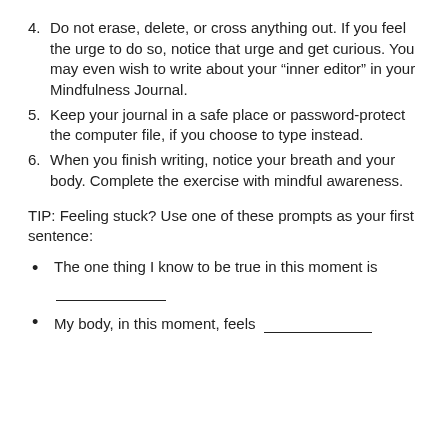4. Do not erase, delete, or cross anything out. If you feel the urge to do so, notice that urge and get curious. You may even wish to write about your “inner editor” in your Mindfulness Journal.
5. Keep your journal in a safe place or password-protect the computer file, if you choose to type instead.
6. When you finish writing, notice your breath and your body. Complete the exercise with mindful awareness.
TIP: Feeling stuck? Use one of these prompts as your first sentence:
The one thing I know to be true in this moment is _______________
My body, in this moment, feels ____________